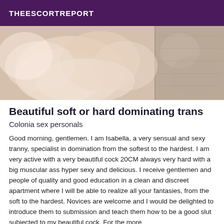THEESCORTREPORT
[Figure (photo): Photo showing soft fluffy pink and cream colored items, possibly cushions or stuffed animals, with a floral patterned fabric visible on the right side]
Beautiful soft or hard dominating trans
Colonia sex personals
Good morning, gentlemen. I am Isabella, a very sensual and sexy tranny, specialist in domination from the softest to the hardest. I am very active with a very beautiful cock 20CM always very hard with a big muscular ass hyper sexy and delicious. I receive gentlemen and people of quality and good education in a clean and discreet apartment where I will be able to realize all your fantasies, from the soft to the hardest. Novices are welcome and I would be delighted to introduce them to submission and teach them how to be a good slut subjected to my beautiful cock. For the more